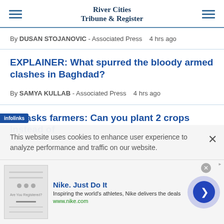River Cities Tribune & Register
By DUSAN STOJANOVIC - Associated Press   4 hrs ago
EXPLAINER: What spurred the bloody armed clashes in Baghdad?
By SAMYA KULLAB - Associated Press   4 hrs ago
US asks farmers: Can you plant 2 crops instead of
This website uses cookies to enhance user experience to analyze performance and traffic on our website.
[Figure (screenshot): Nike advertisement banner with thumbnail image, brand name 'Nike. Just Do It', tagline 'Inspiring the world's athletes, Nike delivers the deals', URL www.nike.com, and a circular next button]